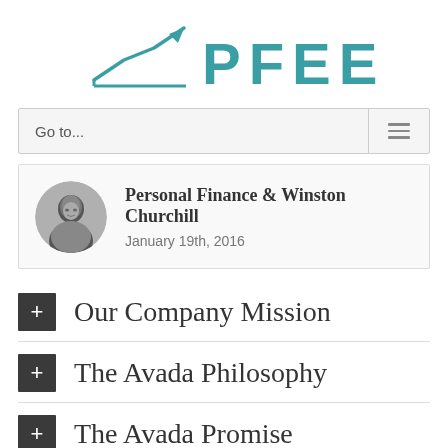[Figure (logo): PFEEF logo with a teal upward-trending arrow/chart icon to the left of the text 'PFEEF' in large teal capital letters]
Go to...
Personal Finance & Winston Churchill
January 19th, 2016
+ Our Company Mission
+ The Avada Philosophy
+ The Avada Promise